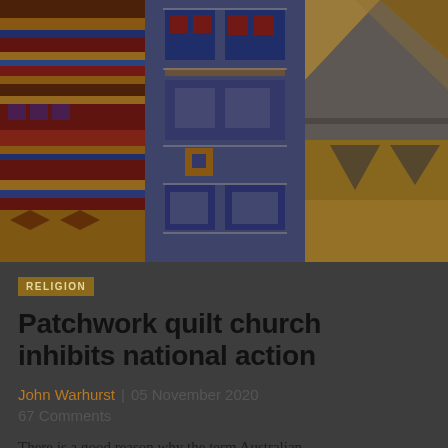[Figure (photo): Colorful patchwork textile/rug artwork featuring geometric patterns in red, blue, gold, and white, with multiple sections showing traditional woven patterns]
RELIGION
Patchwork quilt church inhibits national action
John Warhurst | 05 November 2020
67 Comments
There is a good reason why the term Australian